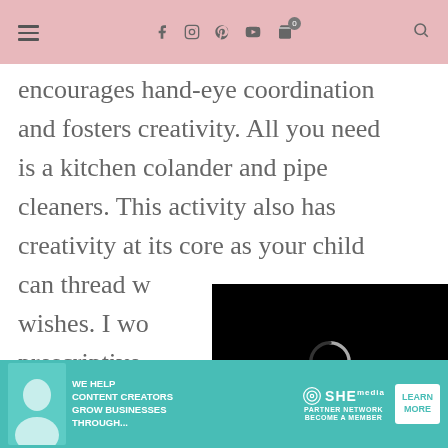Navigation header with hamburger menu, social icons (Facebook, Instagram, Pinterest, YouTube), cart with badge 0, and search icon
encourages hand-eye coordination and fosters creativity. All you need is a kitchen colander and pipe cleaners. This activity also has creativity at its core as your child can thread w… wishes. I wo… prescriptive … explore. Sho… thread and then simply observe.
[Figure (screenshot): Video player overlay showing a loading spinner on black background with controls showing 13:52 timestamp, mute, CC, grid and fullscreen buttons]
[Figure (infographic): Advertisement banner for SHE Media Partner Network: 'We help content creators grow businesses through...' with Learn More button]